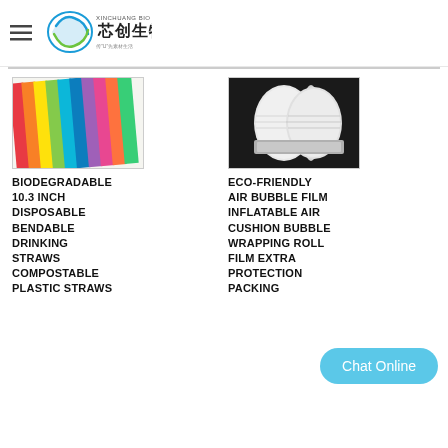芯创生物 XINCHUANG BIO
[Figure (photo): Colorful biodegradable drinking straws bundled together, rainbow colors]
BIODEGRADABLE 10.3 INCH DISPOSABLE BENDABLE DRINKING STRAWS COMPOSTABLE PLASTIC STRAWS
[Figure (photo): Rolls of white eco-friendly air bubble film/wrap on black background]
ECO-FRIENDLY AIR BUBBLE FILM INFLATABLE AIR CUSHION BUBBLE WRAPPING ROLL FILM EXTRA PROTECTION PACKING
Chat Online